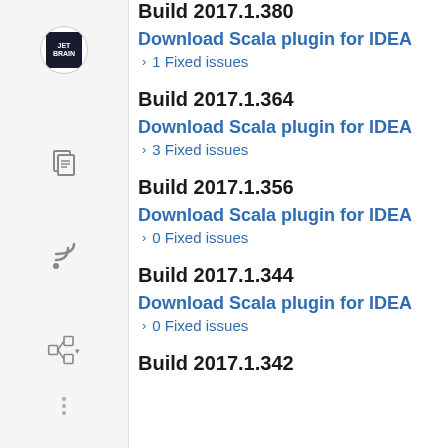Build 2017.1.380
Download Scala plugin for IDEA
> 1 Fixed issues
Build 2017.1.364
Download Scala plugin for IDEA
> 3 Fixed issues
Build 2017.1.356
Download Scala plugin for IDEA
> 0 Fixed issues
Build 2017.1.344
Download Scala plugin for IDEA
> 0 Fixed issues
Build 2017.1.342